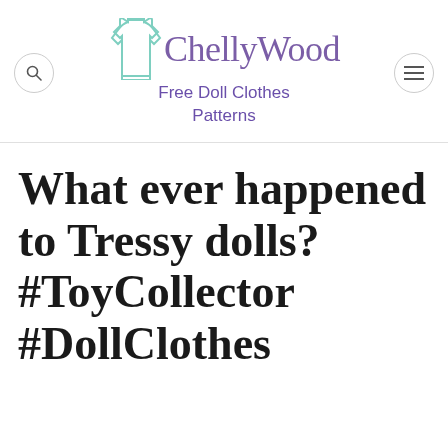ChellyWood — Free Doll Clothes Patterns
What ever happened to Tressy dolls? #ToyCollector #DollClothes